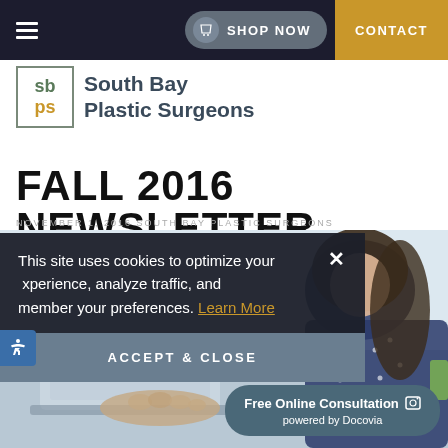SHOP NOW  CONTACT
[Figure (logo): South Bay Plastic Surgeons logo with sbps initials in a box]
FALL 2016 NEWSLETTER
NOVEMBER 1, 2016 SOUTH BAY PLASTIC SURGEONS
[Figure (photo): Woman in polka dot dress typing on laptop computer]
This site uses cookies to optimize your experience, analyze traffic, and remember your preferences. Learn More
ACCEPT & CLOSE
Free Online Consultation powered by Docovia